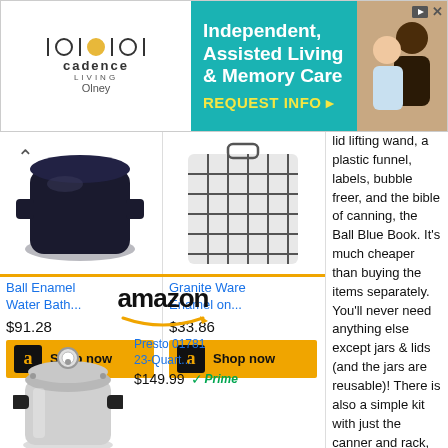[Figure (screenshot): Advertisement banner for Cadence Living - Independent, Assisted Living & Memory Care with REQUEST INFO button]
[Figure (photo): Ball Enamel Water Bath product image (dark blue/black pot)]
Ball Enamel Water Bath...
$91.28
[Figure (photo): Granite Ware Enamel on... product image (wire rack basket)]
Granite Ware Enamel on...
$33.86
[Figure (logo): Amazon logo with smile arrow]
[Figure (photo): Presto 01781 23-Quart pressure canner image (silver pot with gauge)]
Presto 01781 23-Quart...
$149.99
lid lifting wand, a plastic funnel, labels, bubble freer, and the bible of canning, the Ball Blue Book. It's much cheaper than buying the items separately. You'll never need anything else except jars & lids (and the jars are reusable)! There is also a simple kit with just the canner and rack, and a pressure canner, if you want to do vegetables (other than tomatoes). To see more canners, of different styles, makes and prices, click here!